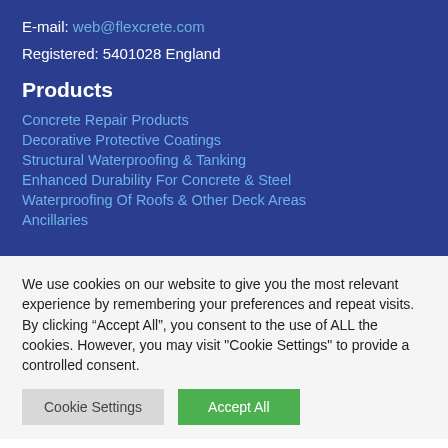E-mail: web@flexcrete.com
Registered: 5401028 England
Products
Concrete Repair Products
Decorative Protective Coatings
Structural Waterproofing & Tanking
Enhanced Durability For Concrete & Steel
Waterproofing Of Roofs & Other Deck Areas
Ancillaries
We use cookies on our website to give you the most relevant experience by remembering your preferences and repeat visits. By clicking “Accept All”, you consent to the use of ALL the cookies. However, you may visit "Cookie Settings" to provide a controlled consent.
Cookie Settings | Accept All